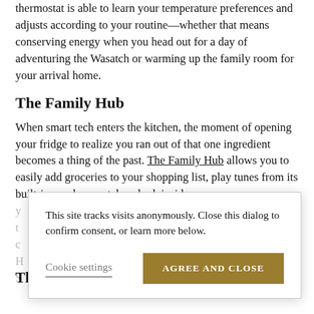thermostat is able to learn your temperature preferences and adjusts according to your routine—whether that means conserving energy when you head out for a day of adventuring the Wasatch or warming up the family room for your arrival home.
The Family Hub
When smart tech enters the kitchen, the moment of opening your fridge to realize you ran out of that one ingredient becomes a thing of the past. The Family Hub allows you to easily add groceries to your shopping list, play tunes from its built-in speakers or take a look inside y... t... c... d... H... S...
This site tracks visits anonymously. Close this dialog to confirm consent, or learn more below.
The Leviton Decora Smart Switches